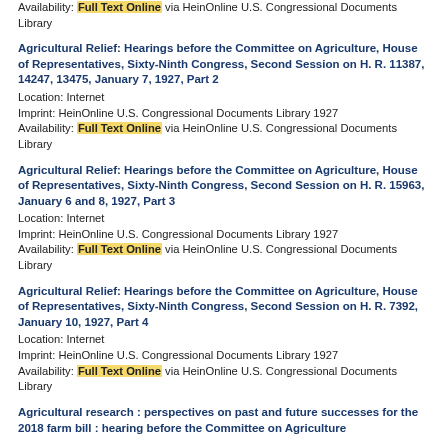Availability: Full Text Online via HeinOnline U.S. Congressional Documents Library
Agricultural Relief: Hearings before the Committee on Agriculture, House of Representatives, Sixty-Ninth Congress, Second Session on H. R. 11387, 14247, 13475, January 7, 1927, Part 2
Location: Internet
Imprint: HeinOnline U.S. Congressional Documents Library 1927
Availability: Full Text Online via HeinOnline U.S. Congressional Documents Library
Agricultural Relief: Hearings before the Committee on Agriculture, House of Representatives, Sixty-Ninth Congress, Second Session on H. R. 15963, January 6 and 8, 1927, Part 3
Location: Internet
Imprint: HeinOnline U.S. Congressional Documents Library 1927
Availability: Full Text Online via HeinOnline U.S. Congressional Documents Library
Agricultural Relief: Hearings before the Committee on Agriculture, House of Representatives, Sixty-Ninth Congress, Second Session on H. R. 7392, January 10, 1927, Part 4
Location: Internet
Imprint: HeinOnline U.S. Congressional Documents Library 1927
Availability: Full Text Online via HeinOnline U.S. Congressional Documents Library
Agricultural research : perspectives on past and future successes for the 2018 farm bill : hearing before the Committee on Agriculture